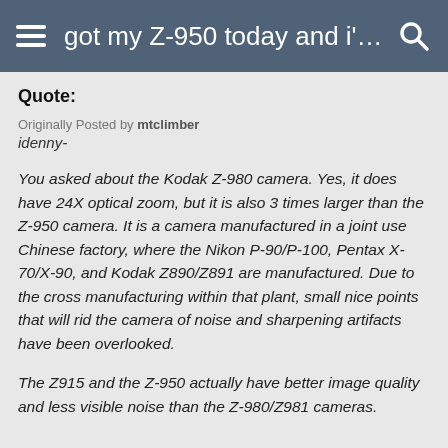got my Z-950 today and i'm Ha...
Quote:
Originally Posted by mtclimber
idenny-
You asked about the Kodak Z-980 camera. Yes, it does have 24X optical zoom, but it is also 3 times larger than the Z-950 camera. It is a camera manufactured in a joint use Chinese factory, where the Nikon P-90/P-100, Pentax X-70/X-90, and Kodak Z890/Z891 are manufactured. Due to the cross manufacturing within that plant, small nice points that will rid the camera of noise and sharpening artifacts have been overlooked.

The Z915 and the Z-950 actually have better image quality and less visible noise than the Z-980/Z981 cameras.